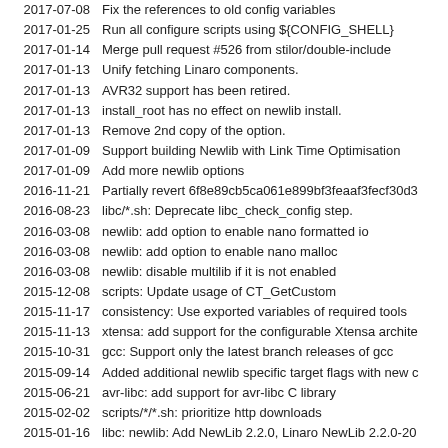2017-07-08  Fix the references to old config variables
2017-01-25  Run all configure scripts using ${CONFIG_SHELL}
2017-01-14  Merge pull request #526 from stilor/double-include
2017-01-13  Unify fetching Linaro components.
2017-01-13  AVR32 support has been retired.
2017-01-13  install_root has no effect on newlib install.
2017-01-13  Remove 2nd copy of the option.
2017-01-09  Support building Newlib with Link Time Optimisation
2017-01-09  Add more newlib options
2016-11-21  Partially revert 6f8e89cb5ca061e899bf3feaaf3fecf30d3...
2016-08-23  libc/*.sh: Deprecate libc_check_config step.
2016-03-08  newlib: add option to enable nano formatted io
2016-03-08  newlib: add option to enable nano malloc
2016-03-08  newlib: disable multilib if it is not enabled
2015-12-08  scripts: Update usage of CT_GetCustom
2015-11-17  consistency: Use exported variables of required tools
2015-11-13  xtensa: add support for the configurable Xtensa archite...
2015-10-31  gcc: Support only the latest branch releases of gcc
2015-09-14  Added additional newlib specific target flags with new c...
2015-06-21  avr-libc: add support for avr-libc C library
2015-02-02  scripts/*/*.sh: prioritize http downloads
2015-01-16  libc: newlib: Add NewLib 2.2.0, Linaro NewLib 2.2.0-20...
2015-01-01  libc/newlib: Add do_libc_start_files to copy headers to c...
2014-02-25  newlib: fix extract process for custom version